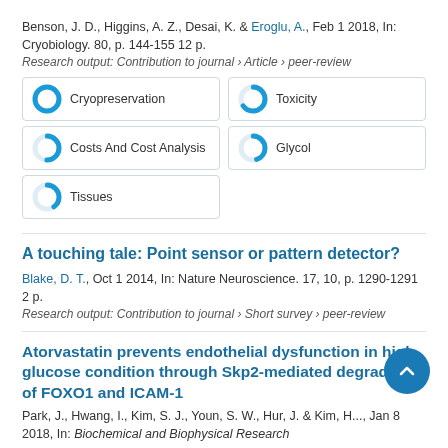Benson, J. D., Higgins, A. Z., Desai, K. & Eroglu, A., Feb 1 2018, In: Cryobiology. 80, p. 144-155 12 p.
Research output: Contribution to journal › Article › peer-review
[Figure (infographic): Five keyword badge boxes in a 2-column grid with donut chart icons: Cryopreservation (100%), Toxicity (~65%), Costs And Cost Analysis (~50%), Glycol (~45%), Tissues (~40%)]
A touching tale: Point sensor or pattern detector?
Blake, D. T., Oct 1 2014, In: Nature Neuroscience. 17, 10, p. 1290-1291 2 p.
Research output: Contribution to journal › Short survey › peer-review
Atorvastatin prevents endothelial dysfunction in high glucose condition through Skp2-mediated degradation of FOXO1 and ICAM-1
Park, J., Hwang, I., Kim, S. J., Youn, S. W., Hur, J. & Kim, H..., Jan 8 2018, In: Biochemical and Biophysical Research